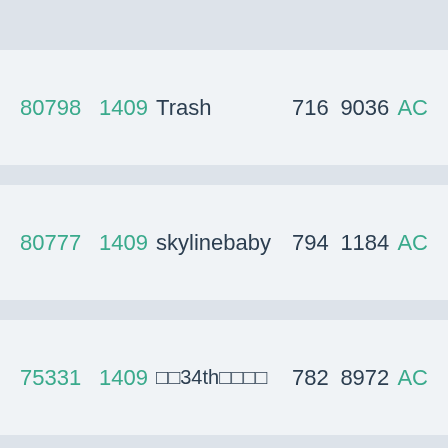| ID | Num | Name | Val1 | Val2 | Status |
| --- | --- | --- | --- | --- | --- |
| 80798 | 1409 | Trash | 716 | 9036 | AC |
| 80777 | 1409 | skylinebaby | 794 | 1184 | AC |
| 75331 | 1409 | □□34th□□□□ | 782 | 8972 | AC |
| 69647 | 1409 | sine | 790 | 484 | AC |
| 53088 | 1409 | Utaha | 791 | 492 | AC |